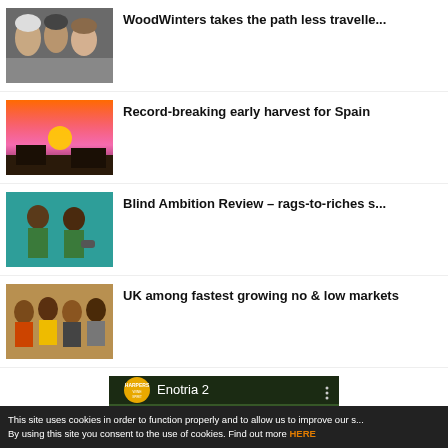[Figure (photo): Group of people smiling - WoodWinters thumbnail]
WoodWinters takes the path less travelle...
[Figure (photo): Sunset over rooftops - Spain harvest thumbnail]
Record-breaking early harvest for Spain
[Figure (photo): Two people on teal background - Blind Ambition thumbnail]
Blind Ambition Review – rags-to-riches s...
[Figure (photo): Group of young people outdoors - no & low markets thumbnail]
UK among fastest growing no & low markets
[Figure (screenshot): YouTube video embed showing Enotria 2 with Harpers Wine logo]
This site uses cookies in order to function properly and to allow us to improve our s... By using this site you consent to the use of cookies. Find out more HERE